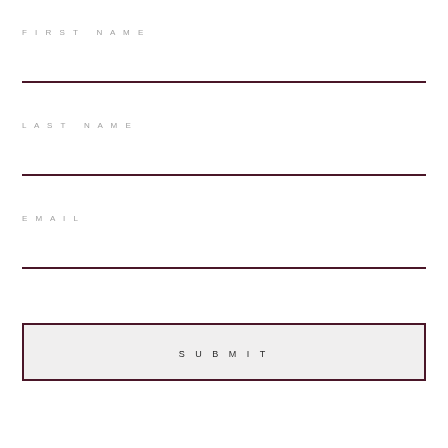FIRST NAME
LAST NAME
EMAIL
SUBMIT